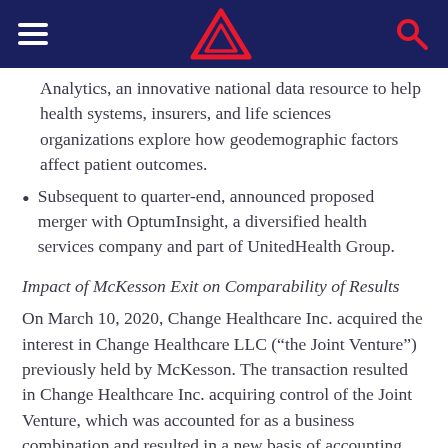[Navigation header with hamburger menu, triangle logo, and search icon]
Analytics, an innovative national data resource to help health systems, insurers, and life sciences organizations explore how geodemographic factors affect patient outcomes.
Subsequent to quarter-end, announced proposed merger with OptumInsight, a diversified health services company and part of UnitedHealth Group.
Impact of McKesson Exit on Comparability of Results
On March 10, 2020, Change Healthcare Inc. acquired the interest in Change Healthcare LLC (“the Joint Venture”) previously held by McKesson. The transaction resulted in Change Healthcare Inc. acquiring control of the Joint Venture, which was accounted for as a business combination and resulted in a new basis of accounting, and all of the business activities of the Joint Venture are